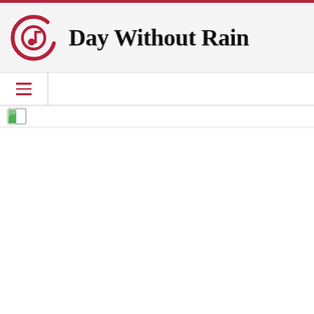[Figure (logo): Day Without Rain website header with circular music note logo on left and site title text on right]
[Figure (other): Navigation bar with hamburger menu icon on left]
[Figure (other): Broken image placeholder icon at top of content area]